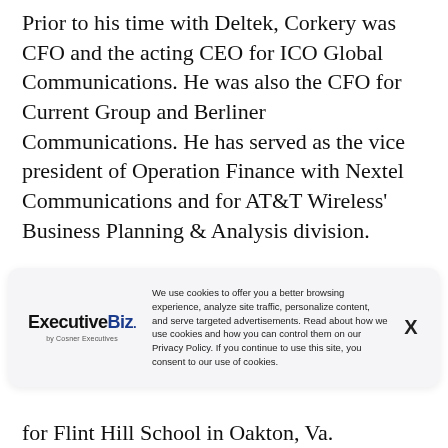Prior to his time with Deltek, Corkery was CFO and the acting CEO for ICO Global Communications. He was also the CFO for Current Group and Berliner Communications. He has served as the vice president of Operation Finance with Nextel Communications and for AT&T Wireless' Business Planning & Analysis division.
We use cookies to offer you a better browsing experience, analyze site traffic, personalize content, and serve targeted advertisements. Read about how we use cookies and how you can control them on our Privacy Policy. If you continue to use this site, you consent to our use of cookies.
for Flint Hill School in Oakton, Va.